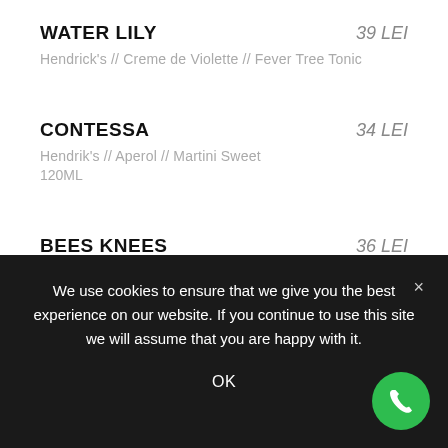WATER LILY — 39 LEI
Hendrick's // Creme de Violette // Fever Tree Tonic
CONTESSA — 34 LEI
Hendrik's // Aperol // Martini Sweet
120ML
BEES KNEES — 36 LEI
Gin Mare // Honey // Prosecco
We use cookies to ensure that we give you the best experience on our website. If you continue to use this site we will assume that you are happy with it.
OK